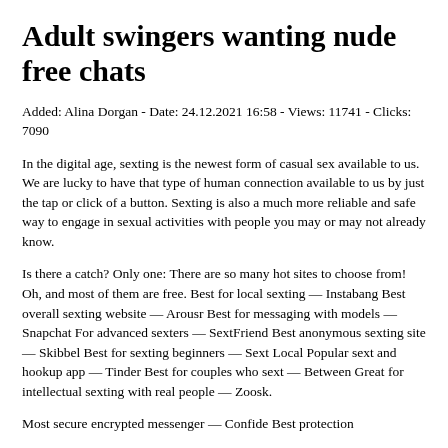Adult swingers wanting nude free chats
Added: Alina Dorgan - Date: 24.12.2021 16:58 - Views: 11741 - Clicks: 7090
In the digital age, sexting is the newest form of casual sex available to us. We are lucky to have that type of human connection available to us by just the tap or click of a button. Sexting is also a much more reliable and safe way to engage in sexual activities with people you may or may not already know.
Is there a catch? Only one: There are so many hot sites to choose from! Oh, and most of them are free. Best for local sexting — Instabang Best overall sexting website — Arousr Best for messaging with models — Snapchat For advanced sexters — SextFriend Best anonymous sexting site — Skibbel Best for sexting beginners — Sext Local Popular sext and hookup app — Tinder Best for couples who sext — Between Great for intellectual sexting with real people — Zoosk.
Most secure encrypted messenger — Confide Best protection